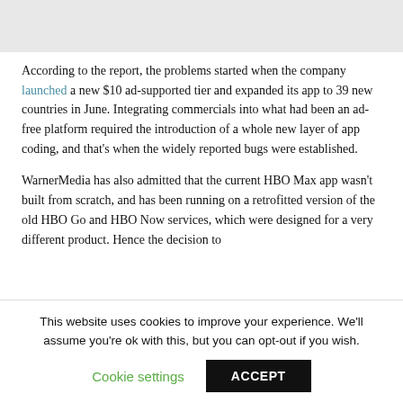[Figure (other): Gray top bar / header image placeholder]
According to the report, the problems started when the company launched a new $10 ad-supported tier and expanded its app to 39 new countries in June. Integrating commercials into what had been an ad-free platform required the introduction of a whole new layer of app coding, and that's when the widely reported bugs were established.
WarnerMedia has also admitted that the current HBO Max app wasn't built from scratch, and has been running on a retrofitted version of the old HBO Go and HBO Now services, which were designed for a very different product. Hence the decision to start from scratch with a complete new app, which has driven the...
This website uses cookies to improve your experience. We'll assume you're ok with this, but you can opt-out if you wish.